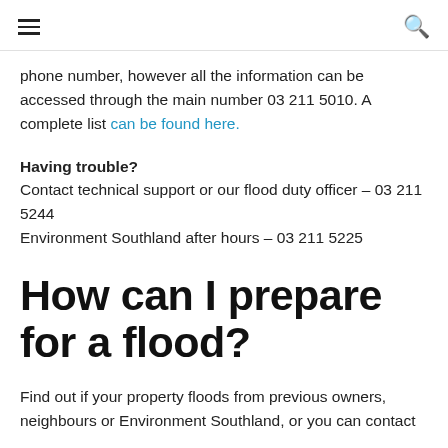navigation header with hamburger menu and search icon
phone number, however all the information can be accessed through the main number 03 211 5010. A complete list can be found here.
Having trouble?
Contact technical support or our flood duty officer – 03 211 5244
Environment Southland after hours – 03 211 5225
How can I prepare for a flood?
Find out if your property floods from previous owners, neighbours or Environment Southland, or you can contact